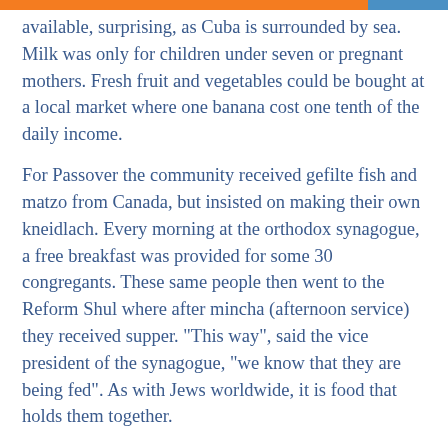available, surprising, as Cuba is surrounded by sea. Milk was only for children under seven or pregnant mothers. Fresh fruit and vegetables could be bought at a local market where one banana cost one tenth of the daily income.
For Passover the community received gefilte fish and matzo from Canada, but insisted on making their own kneidlach. Every morning at the orthodox synagogue, a free breakfast was provided for some 30 congregants. These same people then went to the Reform Shul where after mincha (afternoon service) they received supper. "This way", said the vice president of the synagogue, "we know that they are being fed". As with Jews worldwide, it is food that holds them together.
Following the 1960 Revolution, many Jews left for Florida, but some could not leave for whatever